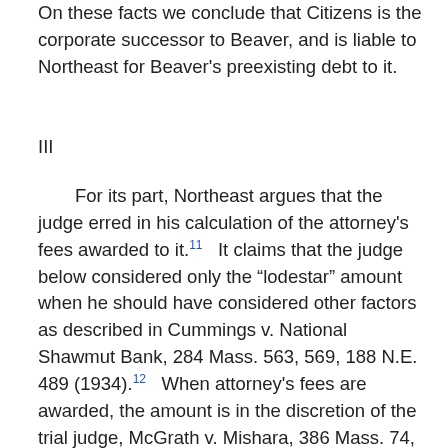On these facts we conclude that Citizens is the corporate successor to Beaver, and is liable to Northeast for Beaver's preexisting debt to it.
III
For its part, Northeast argues that the judge erred in his calculation of the attorney's fees awarded to it.11   It claims that the judge below considered only the “lodestar” amount when he should have considered other factors as described in Cummings v. National Shawmut Bank, 284 Mass. 563, 569, 188 N.E. 489 (1934).12   When attorney's fees are awarded, the amount is in the discretion of the trial judge, McGrath v. Mishara, 386 Mass. 74, 87, 434 N.E.2d 1215 (1982), and we shall reverse the decision only if it is clearly erroneous.   Kennedy v. Kennedy, 400 Mass. 272, 274, 508 N.E.2d 856 (1987), citing Mahoney v. Gallagher, 11 Mass.App.Ct. 1038, 421 N.E.2d 89 (1981).   We have reviewed the submissions to the trial judge and conclude